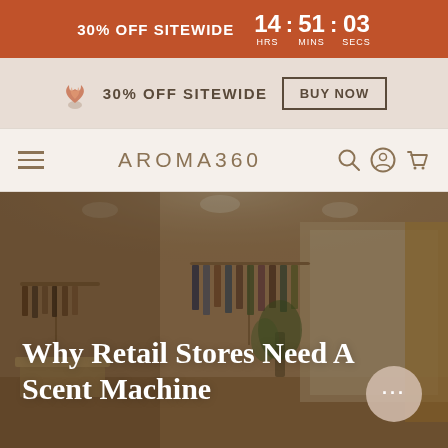30% OFF SITEWIDE  14 HRS : 51 MINS : 03 SECS
30% OFF SITEWIDE  BUY NOW
AROMA360
[Figure (photo): Interior of a retail clothing store / shopping mall with display racks, mannequins, plants, and bright lighting. Warm-toned overlay.]
Why Retail Stores Need A Scent Machine